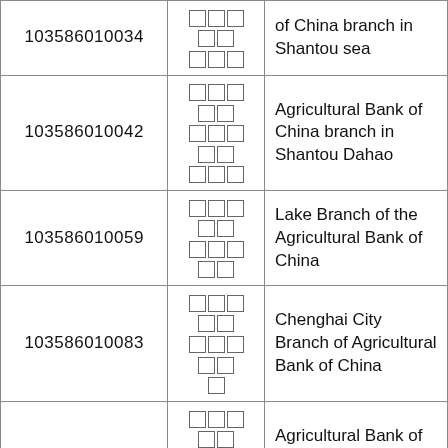| 103586010034 | □□□□□□□ | of China branch in Shantou sea |
| 103586010042 | □□□□□□□□□□ | Agricultural Bank of China branch in Shantou Dahao |
| 103586010059 | □□□□□□□□□□ | Lake Branch of the Agricultural Bank of China |
| 103586010083 | □□□□□□□□□□□ | Chenghai City Branch of Agricultural Bank of China |
| 103586010114 | □□□□□□□□□□ | Agricultural Bank of China branch in Shantou Lake |